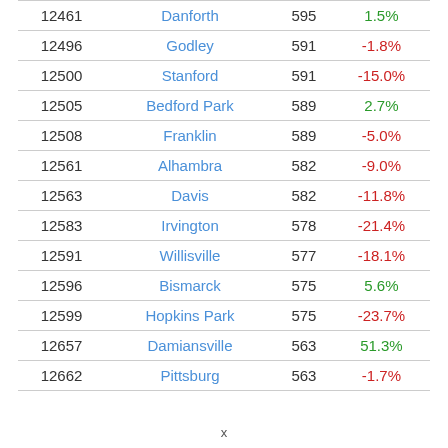|  |  |  |  |
| --- | --- | --- | --- |
| 12461 | Danforth | 595 | 1.5% |
| 12496 | Godley | 591 | -1.8% |
| 12500 | Stanford | 591 | -15.0% |
| 12505 | Bedford Park | 589 | 2.7% |
| 12508 | Franklin | 589 | -5.0% |
| 12561 | Alhambra | 582 | -9.0% |
| 12563 | Davis | 582 | -11.8% |
| 12583 | Irvington | 578 | -21.4% |
| 12591 | Willisville | 577 | -18.1% |
| 12596 | Bismarck | 575 | 5.6% |
| 12599 | Hopkins Park | 575 | -23.7% |
| 12657 | Damiansville | 563 | 51.3% |
| 12662 | Pittsburg | 563 | -1.7% |